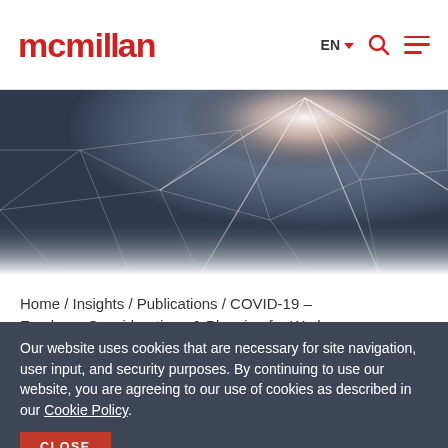mcmillan — EN — [search icon] [menu icon]
[Figure (illustration): Abstract dark blue geometric/polygon network graphic with glowing light burst in upper-right area, used as hero banner image]
Home / Insights / Publications / COVID-19 – Employer Considerations & Planning for Work...
Our website uses cookies that are necessary for site navigation, user input, and security purposes. By continuing to use our website, you are agreeing to our use of cookies as described in our Cookie Policy.
CLOSE